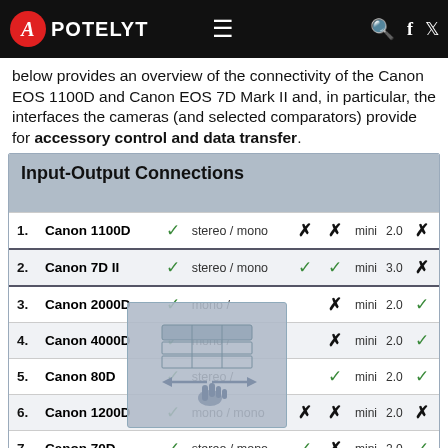APOTELYT
below provides an overview of the connectivity of the Canon EOS 1100D and Canon EOS 7D Mark II and, in particular, the interfaces the cameras (and selected comparators) provide for accessory control and data transfer.
| # | Camera | USB | Audio | Col5 | Col6 | USB type | USB ver | Col8 |
| --- | --- | --- | --- | --- | --- | --- | --- | --- |
| 1. | Canon 1100D | ✓ | stereo / mono | ✗ | ✗ | mini | 2.0 | ✗ |
| 2. | Canon 7D II | ✓ | stereo / mono | ✓ | ✓ | mini | 3.0 | ✗ |
| 3. | Canon 2000D | ✓ | mono / |  | ✗ | mini | 2.0 | ✓ |
| 4. | Canon 4000D | ✓ | mono / |  | ✗ | mini | 2.0 | ✓ |
| 5. | Canon 80D | ✓ | stereo / |  | ✓ | mini | 2.0 | ✓ |
| 6. | Canon 1200D | ✓ | mono / mono | ✗ | ✗ | mini | 2.0 | ✗ |
| 7. | Canon 70D | ✓ | stereo / mono | ✓ | ✗ | mini | 2.0 | ✓ |